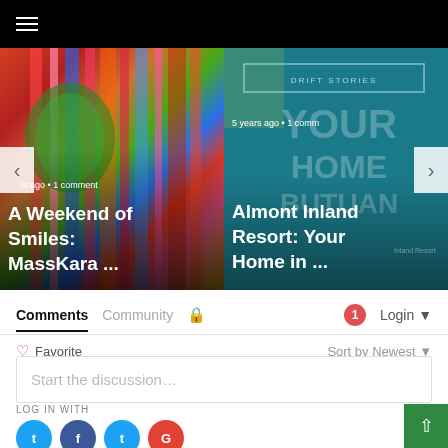Navigation menu (hamburger icon)
[Figure (photo): Left slide showing colorful carnival MassKara festival costumes with text 'rs ago • 1 comment' and title 'A Weekend of Smiles: MassKara ...']
[Figure (photo): Right slide showing Almont Inland Resort Butuan with teal background, 'DRIFT STORIES' label, 'YOUR HOME BUTUAN' watermark, text '5 years ago • 1 comm' and title 'Almont Inland Resort: Your Home in...']
Comments  Community  🔒  1  Login
♡ Favorite  Sort by Newest
Start the discussion…
LOG IN WITH